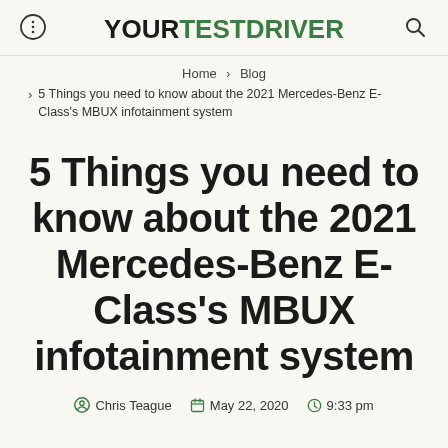YOURTESTDRIVER
Home > Blog > 5 Things you need to know about the 2021 Mercedes-Benz E-Class's MBUX infotainment system
5 Things you need to know about the 2021 Mercedes-Benz E-Class's MBUX infotainment system
Chris Teague   May 22, 2020   9:33 pm